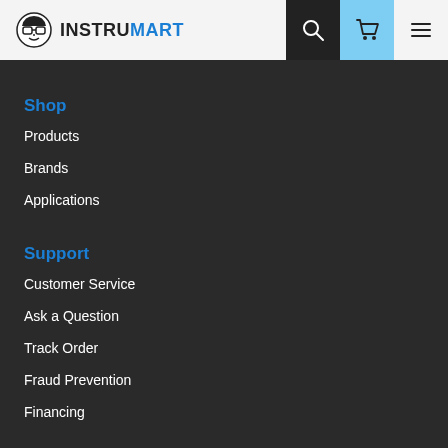INSTRUMART
Shop
Products
Brands
Applications
Support
Customer Service
Ask a Question
Track Order
Fraud Prevention
Financing